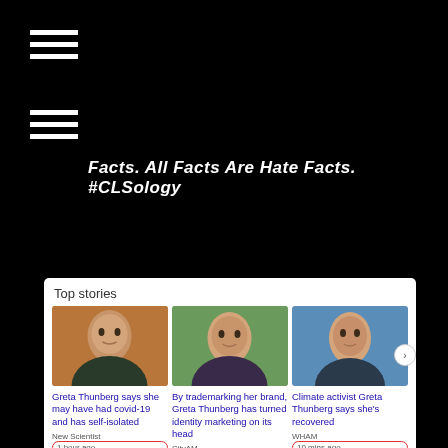Facts. All Facts Are Hate Facts. #CLSology
[Figure (screenshot): Google News 'Top stories' screenshot showing three Greta Thunberg news articles. Article 1: 'Greta Thunberg says she may have had covid-19 and has self-isolated' - New Scientist, 1 hour ago (circled in red). Article 2: 'By trademarking her brand, Greta Thunberg has turned identity marketing on its head' - CityAM, 1 day ago. Article 3: 'Climate activist Greta Thunberg says she's recovered' - WHAM, 10 mins ago (circled in red).]
Wuhan Weekend Update: 4 April, 2020 #WuhanHoax #CLSology